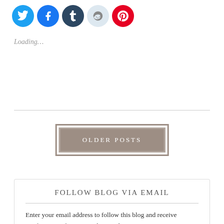[Figure (other): Row of five circular social sharing icons: Twitter (blue), Facebook (blue), Tumblr (dark navy), Reddit (light blue/grey), Pinterest (red)]
Loading...
OLDER POSTS
FOLLOW BLOG VIA EMAIL
Enter your email address to follow this blog and receive notifications of new posts by email.